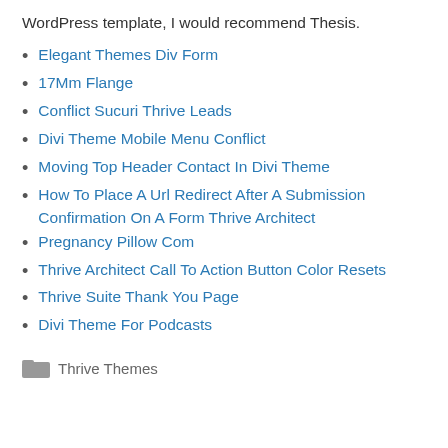WordPress template, I would recommend Thesis.
Elegant Themes Div Form
17Mm Flange
Conflict Sucuri Thrive Leads
Divi Theme Mobile Menu Conflict
Moving Top Header Contact In Divi Theme
How To Place A Url Redirect After A Submission Confirmation On A Form Thrive Architect
Pregnancy Pillow Com
Thrive Architect Call To Action Button Color Resets
Thrive Suite Thank You Page
Divi Theme For Podcasts
Thrive Themes